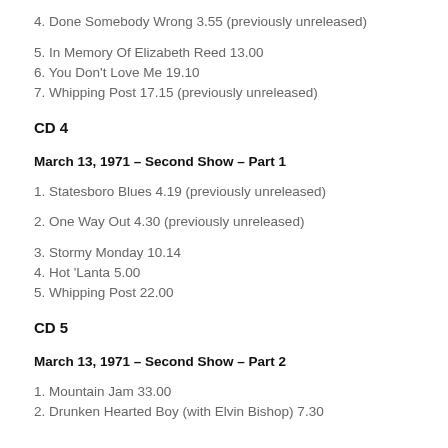3. Don't Keep Me Wonderin' 3.47
4. Done Somebody Wrong 3.55 (previously unreleased)
5. In Memory Of Elizabeth Reed 13.00
6. You Don't Love Me 19.10
7. Whipping Post 17.15 (previously unreleased)
CD 4
March 13, 1971 – Second Show – Part 1
1. Statesboro Blues 4.19 (previously unreleased)
2. One Way Out 4.30 (previously unreleased)
3. Stormy Monday 10.14
4. Hot 'Lanta 5.00
5. Whipping Post 22.00
CD 5
March 13, 1971 – Second Show – Part 2
1. Mountain Jam 33.00
2. Drunken Hearted Boy (with Elvin Bishop) 7.30